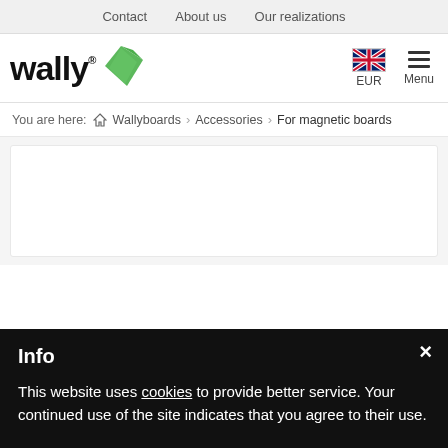Contact   About us   Our realizations
[Figure (logo): Wally brand logo with green leaf/bookmark icon and registered trademark symbol]
EUR   Menu
You are here: Home > Wallyboards > Accessories > For magnetic boards
Info
This website uses cookies to provide better service. Your continued use of the site indicates that you agree to their use.